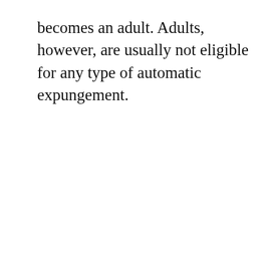becomes an adult. Adults, however, are usually not eligible for any type of automatic expungement.